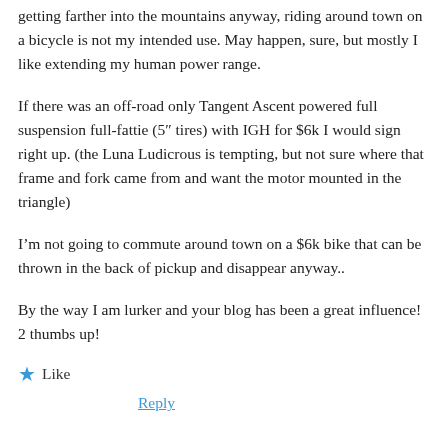getting farther into the mountains anyway, riding around town on a bicycle is not my intended use. May happen, sure, but mostly I like extending my human power range.
If there was an off-road only Tangent Ascent powered full suspension full-fattie (5″ tires) with IGH for $6k I would sign right up. (the Luna Ludicrous is tempting, but not sure where that frame and fork came from and want the motor mounted in the triangle)
I’m not going to commute around town on a $6k bike that can be thrown in the back of pickup and disappear anyway..
By the way I am lurker and your blog has been a great influence! 2 thumbs up!
★ Like
Reply